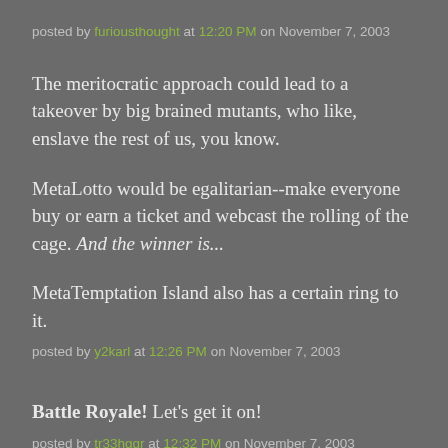posted by furiousthought at 12:20 PM on November 7, 2003
The meritocratic approach could lead to a takeover by big brained mutants, who like, enslave the rest of us, you know.
MetaLotto would be egalitarian--make everyone buy or earn a ticket and webcast the rolling of the cage. And the winner is...
MetaTemptation Island also has a certain ring to it.
posted by y2karl at 12:26 PM on November 7, 2003
Battle Royale! Let's get it on!
posted by tr33hggr at 12:32 PM on November 7, 2003